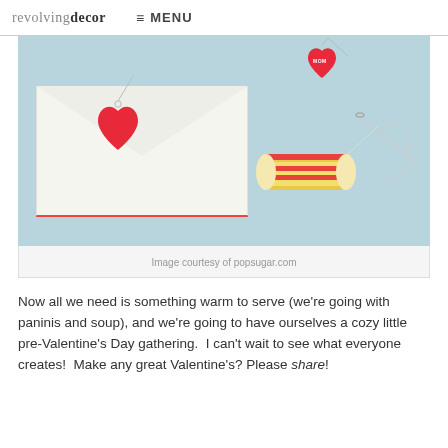revolvingdecor  ≡ MENU
[Figure (photo): A Valentine's Day craft scene showing a white envelope with a red heart-shaped gift tag and a round spool of red and gold thread on a light blue background. A needle with thread is visible on the right side. A second heart tag reads 'MOM'.]
Image courtesy of popsugar.com
Now all we need is something warm to serve (we're going with paninis and soup), and we're going to have ourselves a cozy little pre-Valentine's Day gathering.  I can't wait to see what everyone creates!  Make any great Valentine's? Please share!